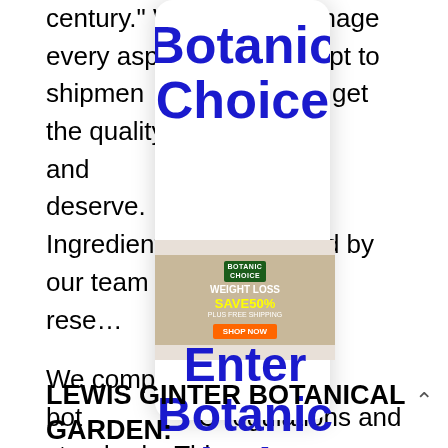century." We closely manage every aspect from concept to shipment ... always get the quality, potency, and ... expect and deserve. Ingredients ... ected by our team of product and rese...
We comply with bot... C regulations and standards. This ens... an trust the label and safety of our pr... ieve health is your greatest asset and it... ordable. With our catalog and online stor... amazing and effective solutions for every health concern – many for only $5! Stay on the path to good health and welcome to Botanic Choice.
[Figure (screenshot): Popup overlay showing 'Botanic Choice' branding in large blue text, with a weight loss advertisement image showing 'WEIGHT LOSS SAVE 50% SHOP NOW' and 'Enter Botanic Choice' text below.]
LEWIS GINTER BOTANICAL GARDEN: